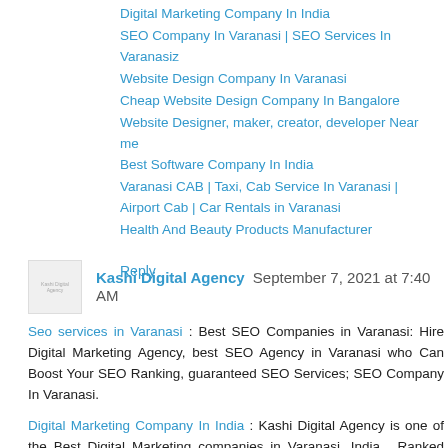Digital Marketing Company In India
SEO Company In Varanasi | SEO Services In Varanasiz
Website Design Company In Varanasi
Cheap Website Design Company In Bangalore
Website Designer, maker, creator, developer Near me
Best Software Company In India
Varanasi CAB | Taxi, Cab Service In Varanasi | Airport Cab | Car Rentals in Varanasi
Health And Beauty Products Manufacturer
Reply
Kashi Digital Agency  September 7, 2021 at 7:40 AM
Seo services in Varanasi : Best SEO Companies in Varanasi: Hire Digital Marketing Agency, best SEO Agency in Varanasi who Can Boost Your SEO Ranking, guaranteed SEO Services; SEO Company In Varanasi.
Digital Marketing Company In India : Kashi Digital Agency is one of the Best Digital Marketing companies in Varanasi, India . Ranked among the Top digital marketing agencies in